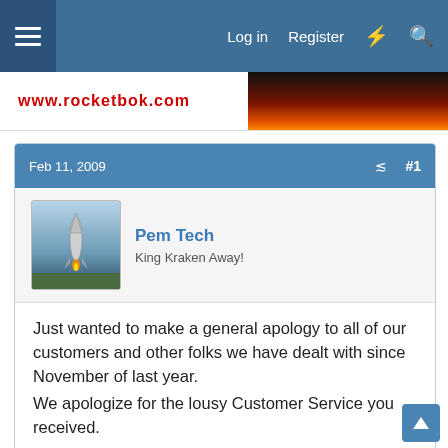Log in  Register
[Figure (screenshot): Website banner with www.rocketbok.com logo in red and a dark reddish-orange image on the right]
Feb 11, 2009  #1
Pem Tech
King Kraken Away!
Just wanted to make a general apology to all of our customers and other folks we have dealt with since November of last year.
We apologize for the lousy Customer Service you received.
Orders were getting looked over, shipped late, were missing parts and somewhere along the way a number of the measurements in our Destruction Manuals simply went *POOF*. Shipping an order or replacement part over two weeks late is not how bidness should be done.
We have been slacking and we pledge to remedy that.